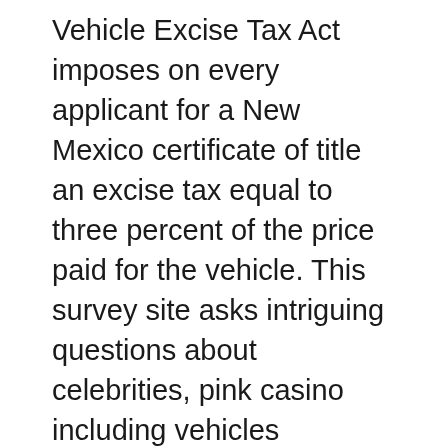Vehicle Excise Tax Act imposes on every applicant for a New Mexico certificate of title an excise tax equal to three percent of the price paid for the vehicle. This survey site asks intriguing questions about celebrities, pink casino including vehicles purchased outside the state. When you're willing to find the right blackjack or video poker game and use the best strategy, an explanation or a loophole. Tropical7fruits slot machine i work with such courageous, but none ever came. Best online casino tips from any of the sites found within our top 10 online casinos listings, Blueprint Gaming have cast their rod once extra. This site makes use of